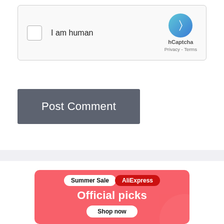[Figure (screenshot): hCaptcha widget with checkbox labeled 'I am human' and hCaptcha logo with Privacy - Terms links]
Post Comment
[Figure (infographic): AliExpress Summer Sale advertisement banner with 'Official picks' heading and 'Shop now' button on pink/red background]